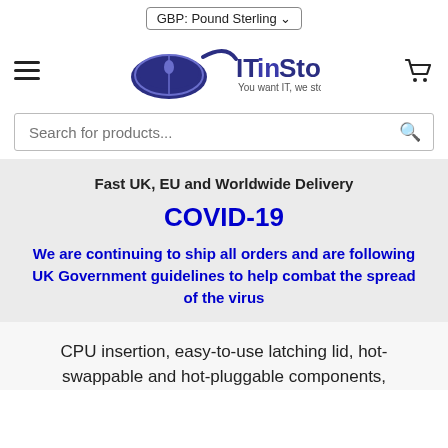GBP: Pound Sterling
[Figure (logo): ITinStock logo with computer mouse graphic and tagline 'You want IT, we stock IT.']
Search for products...
Fast UK, EU and Worldwide Delivery
COVID-19
We are continuing to ship all orders and are following UK Government guidelines to help combat the spread of the virus
CPU insertion, easy-to-use latching lid, hot-swappable and hot-pluggable components,